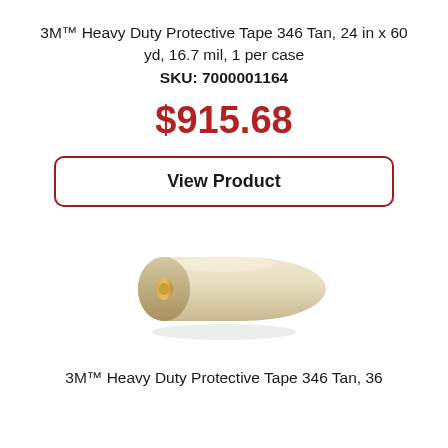3M™ Heavy Duty Protective Tape 346 Tan, 24 in x 60 yd, 16.7 mil, 1 per case
SKU: 7000001164
$915.68
View Product
[Figure (photo): A roll of tan/cream colored 3M Heavy Duty Protective Tape 346, shown at an angle, cylindrical shape with a yellow core visible at the near end.]
3M™ Heavy Duty Protective Tape 346 Tan, 36